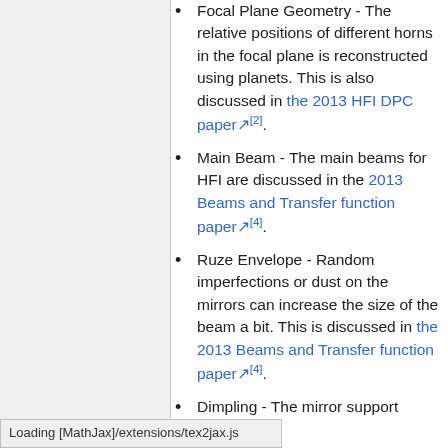Focal Plane Geometry - The relative positions of different horns in the focal plane is reconstructed using planets. This is also discussed in the 2013 HFI DPC paper[2].
Main Beam - The main beams for HFI are discussed in the 2013 Beams and Transfer function paper[4].
Ruze Envelope - Random imperfections or dust on the mirrors can increase the size of the beam a bit. This is discussed in the 2013 Beams and Transfer function paper[4].
Dimpling - The mirror support structure causes a pattern of small imperfections in the beams, which cause small sidelobe responses the main beam. This is
Loading [MathJax]/extensions/tex2jax.js